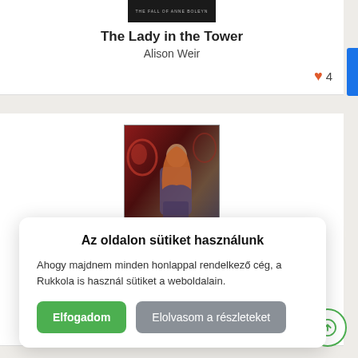[Figure (illustration): Book cover thumbnail for 'The Fall of Anne Boleyn' with dark background and small white text]
The Lady in the Tower
Alison Weir
♥ 4
[Figure (illustration): Book cover for 'Kleves Anna' featuring a woman with long red hair in medieval dress against a red ornamental background]
Az oldalon sütiket használunk
Ahogy majdnem minden honlappal rendelkező cég, a Rukkola is használ sütiket a weboldalain.
Elfogadom
Elolvasom a részleteket